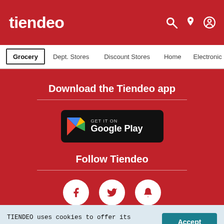tiendeo
Grocery  Dept. Stores  Discount Stores  Home  Electronic
Download the Tiendeo app
[Figure (logo): Google Play store badge: GET IT ON Google Play]
Follow Tiendeo
[Figure (illustration): Social media icons: Facebook (f), Twitter (bird), Notification bell — white icons on white circles]
TIENDEO uses cookies to offer its services, personalize ads and analyze traffic. You can adjust your privacy controls whenever you want in the settings.
Accept
Settings